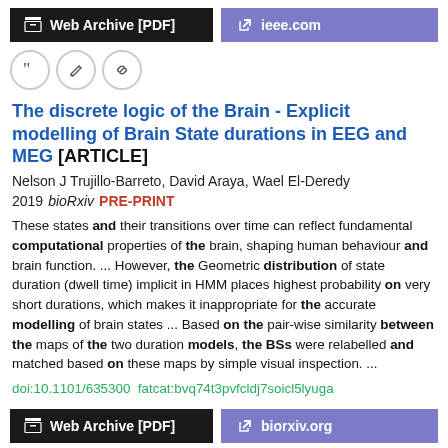Web Archive [PDF]    ieee.com
[Figure (other): Row of icon buttons: quote, edit, link]
The discrete logic of the Brain - Explicit modelling of Brain State durations in EEG and MEG [ARTICLE]
Nelson J Trujillo-Barreto, David Araya, Wael El-Deredy
2019 bioRxiv  PRE-PRINT
These states and their transitions over time can reflect fundamental computational properties of the brain, shaping human behaviour and brain function.  ...  However, the Geometric distribution of state duration (dwell time) implicit in HMM places highest probability on very short durations, which makes it inappropriate for the accurate modelling of brain states  ...  Based on the pair-wise similarity between the maps of the two duration models, the BSs were relabelled and matched based on these maps by simple visual inspection.  ...
doi:10.1101/635300  fatcat:bvq74t3pvfcldj7soicl5lyuga
Web Archive [PDF]    biorxiv.org